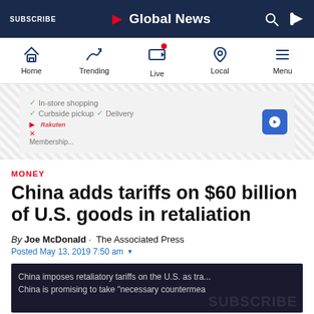SUBSCRIBE  Global News
[Figure (screenshot): Global News navigation bar with Home, Trending, Live, Local, Menu icons]
[Figure (screenshot): Advertisement banner showing in-store shopping, curbside pickup, delivery options with a blue direction arrow icon]
MONEY
China adds tariffs on $60 billion of U.S. goods in retaliation
By Joe McDonald · The Associated Press
Posted May 13, 2019 7:50 am
China imposes retaliatory tariffs on the U.S. as tra... China is promising to take "necessary countermea